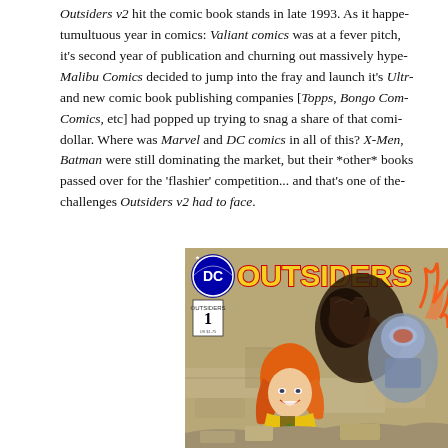Outsiders v2 hit the comic book stands in late 1993. As it happened, it was a tumultuous year in comics: Valiant comics was at a fever pitch, Image was in it's second year of publication and churning out massively hyped books, Malibu Comics decided to jump into the fray and launch it's Ultraverse, and new comic book publishing companies [Topps, Bongo Comics, etc] had popped up trying to snag a share of that comic book dollar. Where was Marvel and DC comics in all of this? X-Men, Batman were still dominating the market, but their *other* books were being passed over for the 'flashier' competition... and that's one of the challenges Outsiders v2 had to face.
[Figure (photo): Comic book cover of Outsiders v2 issue 1, published by DC Comics. Shows superhero characters including a character with orange/yellow hair in a yellow and black costume, a dark furry figure, and a figure in gray armor. The title 'OUTSIDERS' appears at the top in large yellow letters with a red DC logo in the upper left corner.]